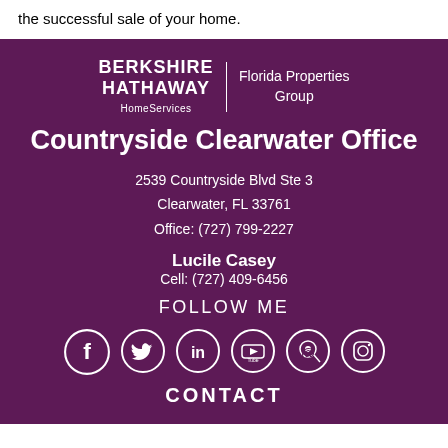the successful sale of your home.
[Figure (logo): Berkshire Hathaway HomeServices Florida Properties Group logo]
Countryside Clearwater Office
2539 Countryside Blvd Ste 3
Clearwater, FL 33761
Office: (727) 799-2227
Lucile Casey
Cell: (727) 409-6456
FOLLOW ME
[Figure (illustration): Social media icons: Facebook, Twitter, LinkedIn, YouTube, Pinterest, Instagram]
CONTACT